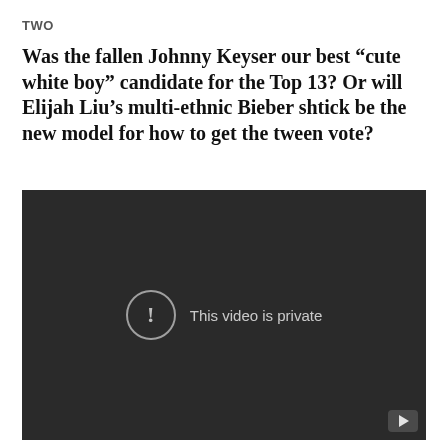TWO
Was the fallen Johnny Keyser our best “cute white boy” candidate for the Top 13? Or will Elijah Liu’s multi-ethnic Bieber shtick be the new model for how to get the tween vote?
[Figure (screenshot): Embedded video player showing a dark background with the message 'This video is private' and a YouTube play button in the bottom right corner.]